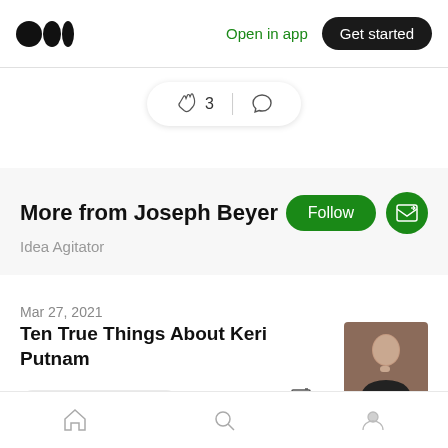Medium logo | Open in app | Get started
[Figure (screenshot): Clap count bar showing clapping hands emoji with count 3 and speech bubble icon]
More from Joseph Beyer
Idea Agitator
Mar 27, 2021
Ten True Things About Keri Putnam
Sundance Film Festival  4 min read
Home | Search | Profile